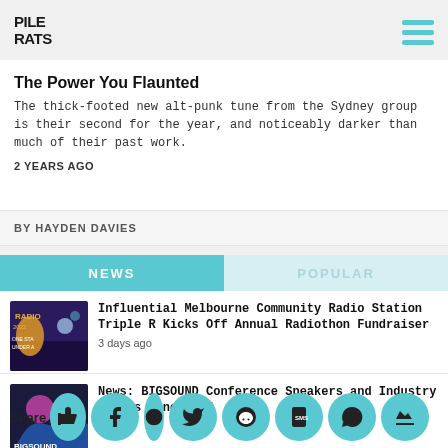PILE RATS
The Power You Flaunted
The thick-footed new alt-punk tune from the Sydney group is their second for the year, and noticeably darker than much of their past work.
2 YEARS AGO
BY HAYDEN DAVIES
NEWS
POPULAR
Influential Melbourne Community Radio Station Triple R Kicks Off Annual Radiothon Fundraiser
3 days ago
News: BIGSOUND Conference Speakers and Industry Events Announced